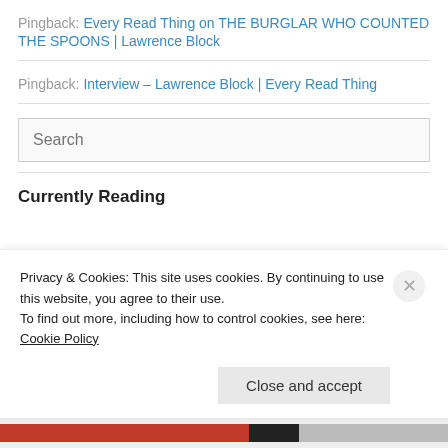Pingback: Every Read Thing on THE BURGLAR WHO COUNTED THE SPOONS | Lawrence Block
Pingback: Interview – Lawrence Block | Every Read Thing
Search
Currently Reading
Privacy & Cookies: This site uses cookies. By continuing to use this website, you agree to their use. To find out more, including how to control cookies, see here: Cookie Policy
Close and accept